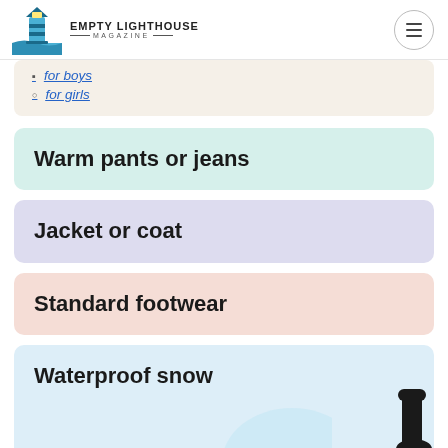EMPTY LIGHTHOUSE MAGAZINE
for boys
for girls
Warm pants or jeans
Jacket or coat
Standard footwear
Waterproof snow